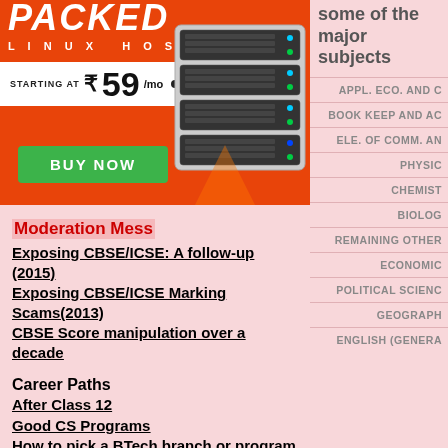[Figure (infographic): Advertisement banner for Linux Hosting: PACKED LINUX HOSTING, STARTING AT ₹59/mo, BUY NOW button, server rack image on orange background]
Moderation Mess
Exposing CBSE/ICSE: A follow-up (2015)
Exposing CBSE/ICSE Marking Scams(2013)
CBSE Score manipulation over a decade
Career Paths
After Class 12
Good CS Programs
How to pick a BTech branch or program
some of the major subjects
APPL. ECO. AND C
BOOK KEEP AND AC
ELE. OF COMM. AN
PHYSIC
CHEMIST
BIOLOG
REMAINING OTHER
ECONOMIC
POLITICAL SCIENC
GEOGRAPH
ENGLISH (GENERA